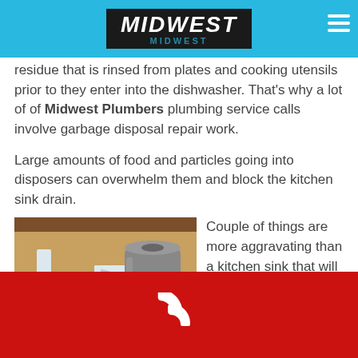MIDWEST
residue that is rinsed from plates and cooking utensils prior to they enter into the dishwasher. That's why a lot of of Midwest Plumbers plumbing service calls involve garbage disposal repair work.
Large amounts of food and particles going into disposers can overwhelm them and block the kitchen sink drain.
[Figure (photo): Under-sink view showing a garbage disposal unit connected to white PVC pipes and hoses, mounted beneath a kitchen sink cabinet.]
Couple of things are more aggravating than a kitchen sink that will not drain, but Midwest Plumbers's plumbers are
Phone contact footer with phone icon